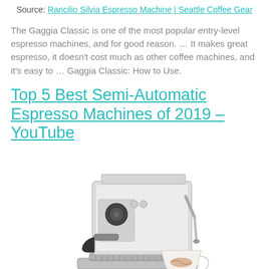Source: Rancilio Silvia Espresso Machine | Seattle Coffee Gear
The Gaggia Classic is one of the most popular entry-level espresso machines, and for good reason. … It makes great espresso, it doesn't cost much as other coffee machines, and it's easy to … Gaggia Classic: How to Use.
Top 5 Best Semi-Automatic Espresso Machines of 2019 – YouTube
[Figure (photo): An espresso machine (semi-automatic, stainless steel) with a steam wand and a latte cup with latte art in front of it.]